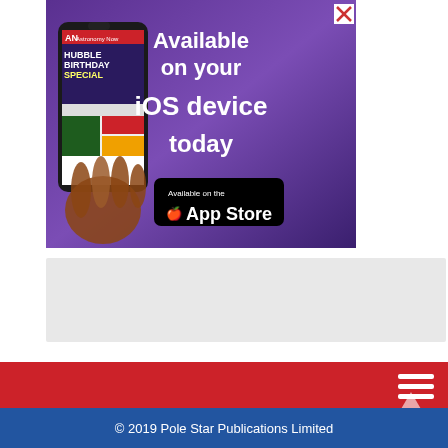[Figure (screenshot): Advertisement banner for Astronomy Now iOS app. Shows a smartphone with the Astronomy Now app interface, text reading 'Available on your iOS device today', and an Apple App Store badge. Purple/dark blue gradient background.]
[Figure (other): Gray placeholder box, likely an advertisement or content area loading placeholder.]
© 2019 Pole Star Publications Limited